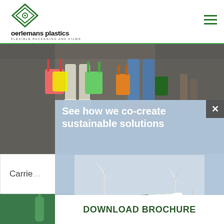[Figure (logo): Oerlemans Plastics logo: green diamond with circle in center above company name and tagline]
[Figure (photo): Two people from waist down carrying colorful shopping bags, walking on cobbled surface]
Carrie
[Figure (photo): Modal popup with light blue background showing brochure image and headline text]
See how we co-create sustainable solutions
[Figure (photo): Co-Creating Sustainable Solutions brochure with green triangle cover design]
DOWNLOAD BROCHURE